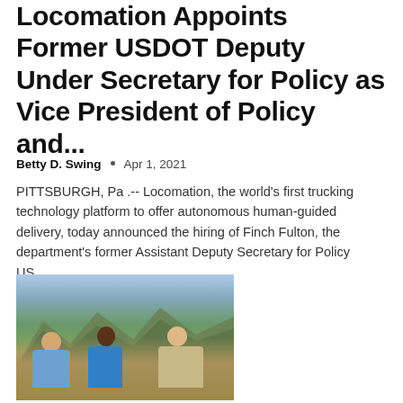Locomation Appoints Former USDOT Deputy Under Secretary for Policy as Vice President of Policy and...
Betty D. Swing • Apr 1, 2021
PITTSBURGH, Pa .-- Locomation, the world's first trucking technology platform to offer autonomous human-guided delivery, today announced the hiring of Finch Fulton, the department's former Assistant Deputy Secretary for Policy US...
[Figure (photo): Three people standing outdoors in front of mountains. Left: older man in blue checkered shirt. Center: woman in blue top. Right: man in tan ranger/uniform shirt.]